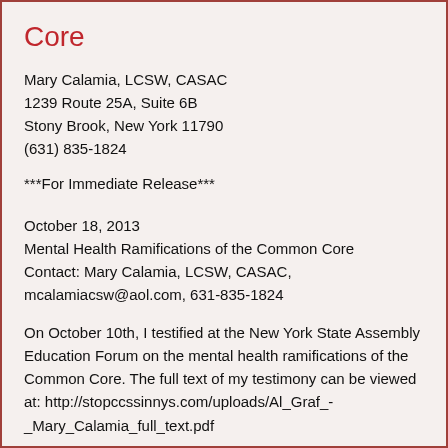Core
Mary Calamia, LCSW, CASAC
1239 Route 25A, Suite 6B
Stony Brook, New York 11790
(631) 835-1824
***For Immediate Release***
October 18, 2013
Mental Health Ramifications of the Common Core
Contact: Mary Calamia, LCSW, CASAC,
mcalamiacsw@aol.com, 631-835-1824
On October 10th, I testified at the New York State Assembly Education Forum on the mental health ramifications of the Common Core. The full text of my testimony can be viewed at: http://stopccssinnys.com/uploads/Al_Graf_-_Mary_Calamia_full_text.pdf
My oral testimony may be viewed at: